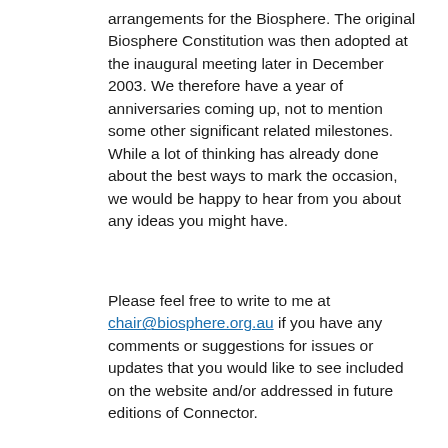arrangements for the Biosphere. The original Biosphere Constitution was then adopted at the inaugural meeting later in December 2003. We therefore have a year of anniversaries coming up, not to mention some other significant related milestones. While a lot of thinking has already done about the best ways to mark the occasion, we would be happy to hear from you about any ideas you might have.
Please feel free to write to me at chair@biosphere.org.au if you have any comments or suggestions for issues or updates that you would like to see included on the website and/or addressed in future editions of Connector.